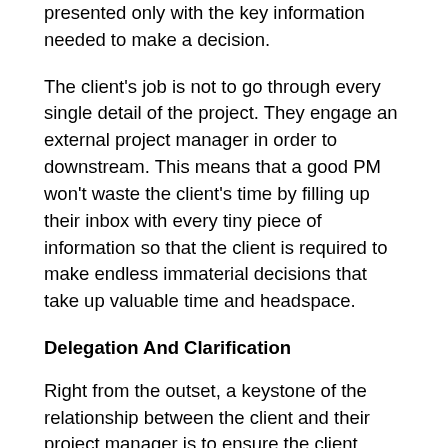presented only with the key information needed to make a decision.
The client's job is not to go through every single detail of the project. They engage an external project manager in order to downstream. This means that a good PM won't waste the client's time by filling up their inbox with every tiny piece of information so that the client is required to make endless immaterial decisions that take up valuable time and headspace.
Delegation And Clarification
Right from the outset, a keystone of the relationship between the client and their project manager is to ensure the client formally delegates accountability or responsibility to their PM. The client will do themselves a massive injustice if they don't empower the project manager to act on their behalf and to actually make decisions.